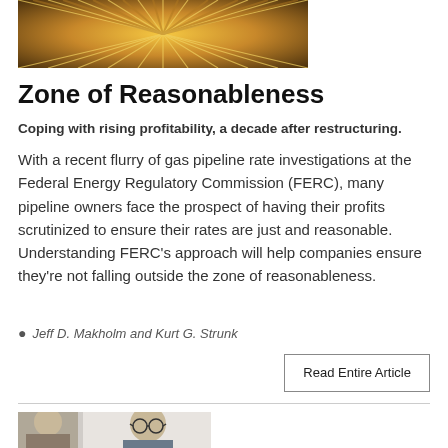[Figure (photo): Abstract radiating light beams in gold and brown tones, top banner image]
Zone of Reasonableness
Coping with rising profitability, a decade after restructuring.
With a recent flurry of gas pipeline rate investigations at the Federal Energy Regulatory Commission (FERC), many pipeline owners face the prospect of having their profits scrutinized to ensure their rates are just and reasonable. Understanding FERC's approach will help companies ensure they're not falling outside the zone of reasonableness.
Jeff D. Makholm and Kurt G. Strunk
Read Entire Article
[Figure (photo): Partial photo of a person wearing glasses, bottom of page]